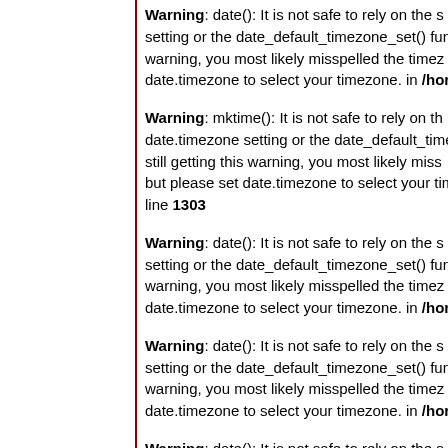Warning: date(): It is not safe to rely on the s setting or the date_default_timezone_set() fun warning, you most likely misspelled the timez date.timezone to select your timezone. in /hor
Warning: mktime(): It is not safe to rely on th date.timezone setting or the date_default_time still getting this warning, you most likely miss but please set date.timezone to select your tim line 1303
Warning: date(): It is not safe to rely on the s setting or the date_default_timezone_set() fun warning, you most likely misspelled the timez date.timezone to select your timezone. in /hor
Warning: date(): It is not safe to rely on the s setting or the date_default_timezone_set() fun warning, you most likely misspelled the timez date.timezone to select your timezone. in /hor
Warning: date(): It is not safe to rely on the s setting or the date_default_timezone_set() fun warning, you most likely misspelled the timez date.timezone to select your timezone. in /hor
Warning: date(): It is not safe to rely on the s setting or the date_default_timezone_set() fun warning, you most likely misspelled the tim